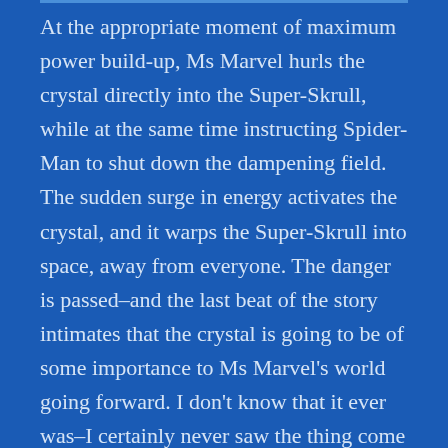At the appropriate moment of maximum power build-up, Ms Marvel hurls the crystal directly into the Super-Skrull, while at the same time instructing Spider-Man to shut down the dampening field. The sudden surge in energy activates the crystal, and it warps the Super-Skrull into space, away from everyone. The danger is passed–and the last beat of the story intimates that the crystal is going to be of some importance to Ms Marvel's world going forward. I don't know that it ever was–I certainly never saw the thing come back. But this was very much Claremont's way, to drop bread crumbs for himself that might lead to future stories. The fact that he was often haphazard about picking up on those bread crumbs would become a recurring complaint...